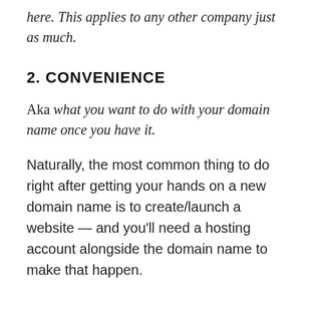here. This applies to any other company just as much.
2. CONVENIENCE
Aka what you want to do with your domain name once you have it.
Naturally, the most common thing to do right after getting your hands on a new domain name is to create/launch a website — and you'll need a hosting account alongside the domain name to make that happen.